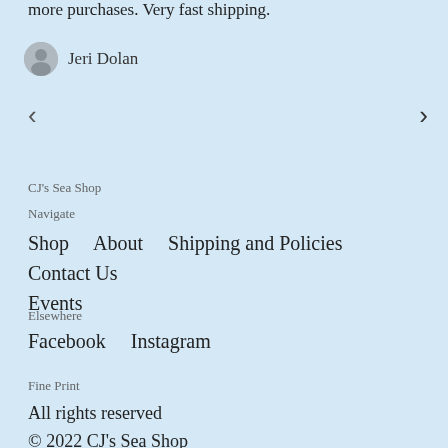more purchases. Very fast shipping.
Jeri Dolan
‹   ›
CJ's Sea Shop
Navigate
Shop   About   Shipping and Policies   Contact Us   Events
Elsewhere
Facebook   Instagram
Fine Print
All rights reserved
© 2022 CJ's Sea Shop
Powered by Etsy